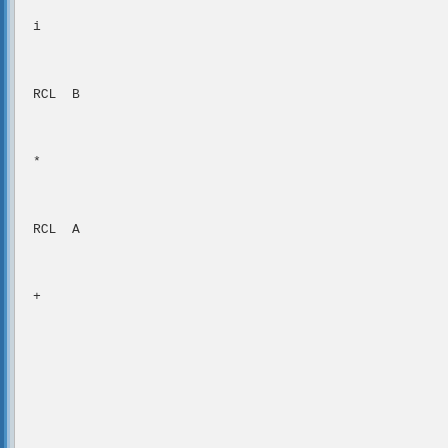i

RCL  B

*

RCL  A

+
[Figure (screenshot): A blue 'Find' button with a magnifying glass icon]
Trent Moseley
Senior Member
10-11-2007, 10:06 PM
Karl - I'm numb with this stuff. Having solved all complex pro... HP need to reinvent the wheel?
tm